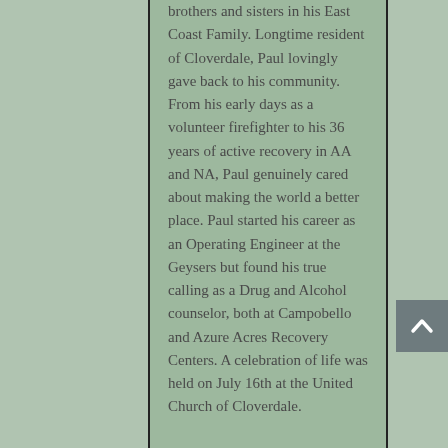brothers and sisters in his East Coast Family. Longtime resident of Cloverdale, Paul lovingly gave back to his community. From his early days as a volunteer firefighter to his 36 years of active recovery in AA and NA, Paul genuinely cared about making the world a better place. Paul started his career as an Operating Engineer at the Geysers but found his true calling as a Drug and Alcohol counselor, both at Campobello and Azure Acres Recovery Centers. A celebration of life was held on July 16th at the United Church of Cloverdale.